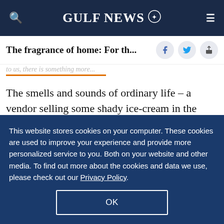GULF NEWS
The fragrance of home: For th...
The smells and sounds of ordinary life – a vendor selling some shady ice-cream in the back lane, another vendor selling glass bangles at the front gate that has never had a formal address, the buzzing sounds of crickets and moths around the
This website stores cookies on your computer. These cookies are used to improve your experience and provide more personalized service to you. Both on your website and other media. To find out more about the cookies and data we use, please check out our Privacy Policy.
OK